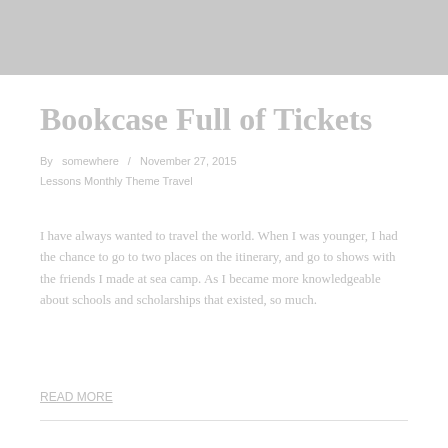[Figure (photo): Hero banner image at top of blog post, light gray placeholder]
Bookcase Full of Tickets
By  somewhere  /  November 27, 2015
Lessons  Monthly Theme  Travel
I have always wanted to travel the world. When I was younger, I had the chance to go to two places on the itinerary, and go to shows with the friends I made at sea camp. As I became more knowledgeable about schools and scholarships that existed, so much.
READ MORE